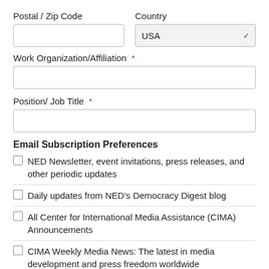Postal / Zip Code
Country
Work Organization/Affiliation *
Position/ Job Title *
Email Subscription Preferences
NED Newsletter, event invitations, press releases, and other periodic updates
Daily updates from NED's Democracy Digest blog
All Center for International Media Assistance (CIMA) Announcements
CIMA Weekly Media News: The latest in media development and press freedom worldwide